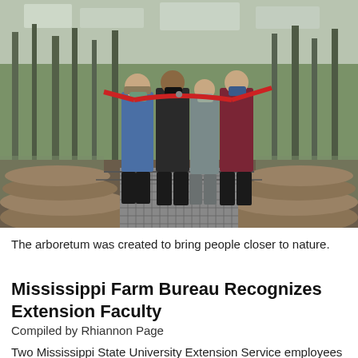[Figure (photo): Four people wearing face masks stand on a log-and-metal-grate bridge in a wooded wetland area, holding a red ribbon for a ribbon-cutting ceremony. Trees and water are visible in the background.]
The arboretum was created to bring people closer to nature.
Mississippi Farm Bureau Recognizes Extension Faculty
Compiled by Rhiannon Page
Two Mississippi State University Extension Service employees received awards from Mississippi Farm